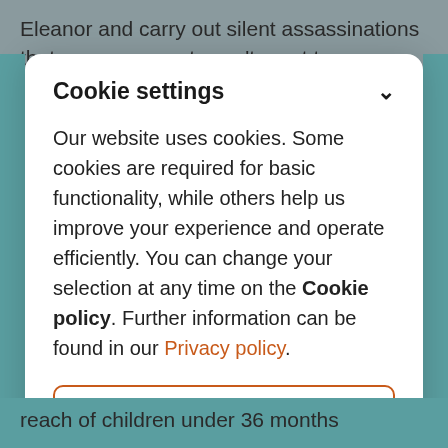Eleanor and carry out silent assassinations that your opponents can't react to.
Cookie settings
Our website uses cookies. Some cookies are required for basic functionality, while others help us improve your experience and operate efficiently. You can change your selection at any time on the Cookie policy. Further information can be found in our Privacy policy.
Accept required
Accept all
reach of children under 36 months